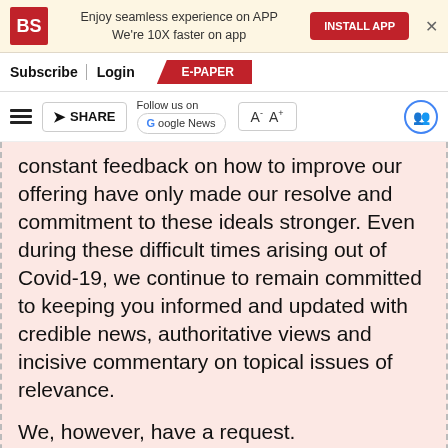[Figure (screenshot): Business Standard app install banner with BS logo, text 'Enjoy seamless experience on APP We're 10X faster on app', INSTALL APP button, and close X]
Subscribe | Login    E-PAPER
[Figure (screenshot): Toolbar with hamburger menu, SHARE button, Follow us on Google News, A- A+ font size buttons, and user icon]
constant feedback on how to improve our offering have only made our resolve and commitment to these ideals stronger. Even during these difficult times arising out of Covid-19, we continue to remain committed to keeping you informed and updated with credible news, authoritative views and incisive commentary on topical issues of relevance.
We, however, have a request.
As we battle the economic impact of the pandemic, we need your support even more, so that we can continue to offer you more quality content. Our